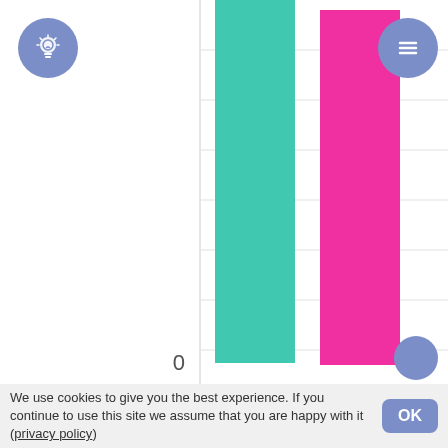[Figure (bar-chart): Bar chart labeled RYB showing three bars (teal/cyan, magenta/pink, gray) all reaching from 0 to approximately 100. Top portion of chart visible with y-axis tick at 0. Second chart below shows y-axis with 100 at top and 50 partially visible at bottom.]
We use cookies to give you the best experience. If you continue to use this site we assume that you are happy with it (privacy policy)